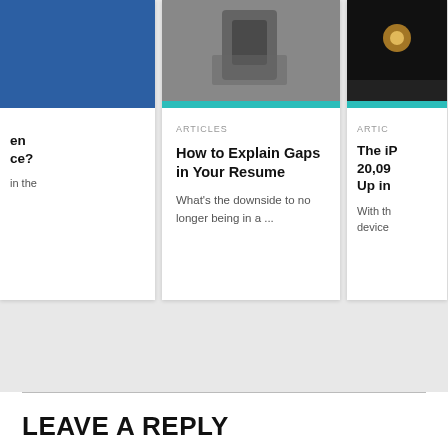[Figure (screenshot): Card with blue image top, partially cropped on left side showing partial title text 'en', 'ce?', 'in the']
[Figure (photo): Center article card with gray photo of person/chair, teal bar at bottom. Category: ARTICLES. Title: How to Explain Gaps in Your Resume. Excerpt: What's the downside to no longer being in a ...]
[Figure (photo): Right article card with dark photo, teal bar at bottom. Category: ARTIC (truncated). Title: The iP... 20,09... Up in (truncated). Excerpt: With th... device (truncated)]
LEAVE A REPLY